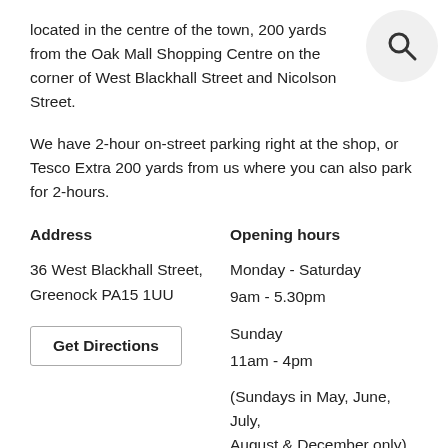located in the centre of the town, 200 yards from the Oak Mall Shopping Centre on the corner of West Blackhall Street and Nicolson Street.
We have 2-hour on-street parking right at the shop, or Tesco Extra 200 yards from us where you can also park for 2-hours.
Address
Opening hours
36 West Blackhall Street,
Greenock PA15 1UU
Monday - Saturday
9am - 5.30pm

Sunday
11am - 4pm

(Sundays in May, June, July, August & December only)
Get Directions
[Figure (illustration): Search magnifying glass icon in a circular grey background, top right corner]